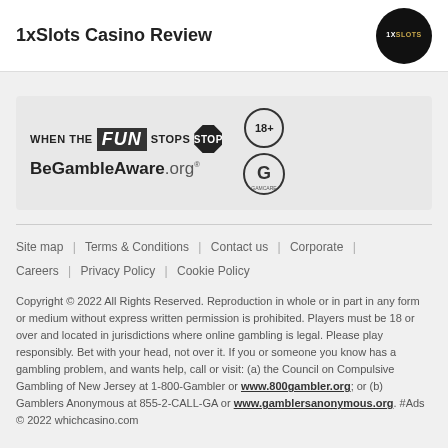1xSlots Casino Review
[Figure (logo): Gambling awareness logos: WHEN THE FUN STOPS STOP, BeGambleAware.org, 18+ circle, GamCare logo]
Site map | Terms & Conditions | Contact us | Corporate | Careers | Privacy Policy | Cookie Policy
Copyright © 2022 All Rights Reserved. Reproduction in whole or in part in any form or medium without express written permission is prohibited. Players must be 18 or over and located in jurisdictions where online gambling is legal. Please play responsibly. Bet with your head, not over it. If you or someone you know has a gambling problem, and wants help, call or visit: (a) the Council on Compulsive Gambling of New Jersey at 1-800-Gambler or www.800gambler.org; or (b) Gamblers Anonymous at 855-2-CALL-GA or www.gamblersanonymous.org. #Ads © 2022 whichcasino.com